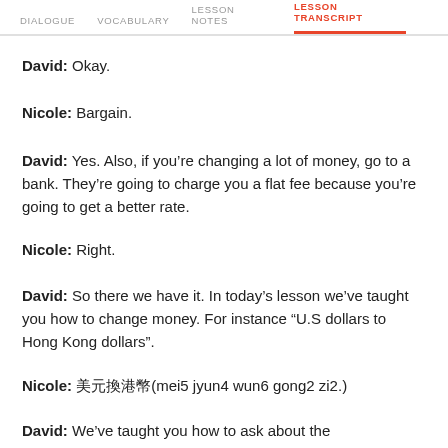DIALOGUE  VOCABULARY  LESSON NOTES  LESSON TRANSCRIPT
David: Okay.
Nicole: Bargain.
David: Yes. Also, if you’re changing a lot of money, go to a bank. They’re going to charge you a flat fee because you’re going to get a better rate.
Nicole: Right.
David: So there we have it. In today’s lesson we’ve taught you how to change money. For instance “U.S dollars to Hong Kong dollars”.
Nicole: 美元換港幣(mei5 jyun4 wun6 gong2 zi2.)
David: We’ve taught you how to ask about the